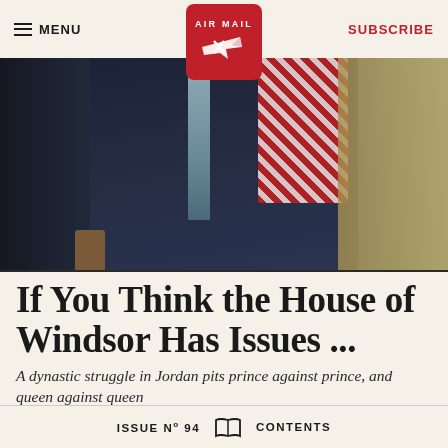≡ MENU  AIR MAIL  SUBSCRIBE
[Figure (photo): Two people in formal attire; one wearing a suit with a tie, the other wearing a red and white keffiyeh. A third figure partially visible at right in ornate clothing.]
If You Think the House of Windsor Has Issues ...
A dynastic struggle in Jordan pits prince against prince, and queen against queen
ISSUE No 94  [book icon]  CONTENTS